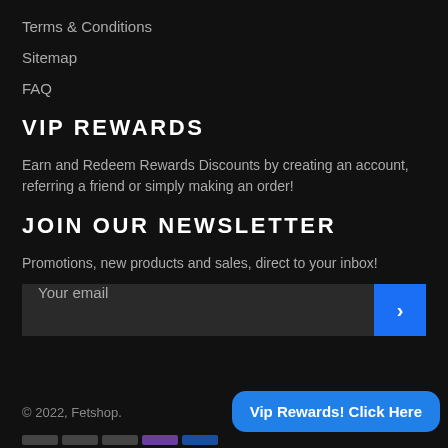Terms & Conditions
Sitemap
FAQ
VIP REWARDS
Earn and Redeem Rewards Discounts by creating an account, referring a friend or simply making an order!
JOIN OUR NEWSLETTER
Promotions, new products and sales, direct to your inbox!
Your email
© 2022, Fetshop.
Vip Rewards! Click Here